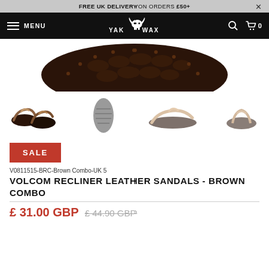FREE UK DELIVERY ON ORDERS £50+
YAK WAX — MENU — Search — Cart 0
[Figure (photo): Close-up of the bottom sole of a dark brown leather sandal, showing textured tread pattern]
[Figure (photo): Four thumbnail views of Volcom Recliner Leather Sandals in Brown Combo: pair view, sole view, side view, back view]
SALE
V0811515-BRC-Brown Combo-UK 5
VOLCOM RECLINER LEATHER SANDALS - BROWN COMBO
£ 31.00 GBP  £ 44.90 GBP